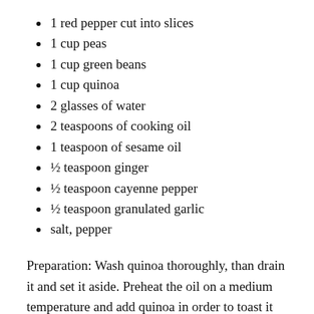1 red pepper cut into slices
1 cup peas
1 cup green beans
1 cup quinoa
2 glasses of water
2 teaspoons of cooking oil
1 teaspoon of sesame oil
½ teaspoon ginger
½ teaspoon cayenne pepper
½ teaspoon granulated garlic
salt, pepper
Preparation: Wash quinoa thoroughly, than drain it and set it aside. Preheat the oil on a medium temperature and add quinoa in order to toast it lightly. Stir frequently. After 5-6 minutes, add red pepper, add bell pepper, and fry it hot fla...